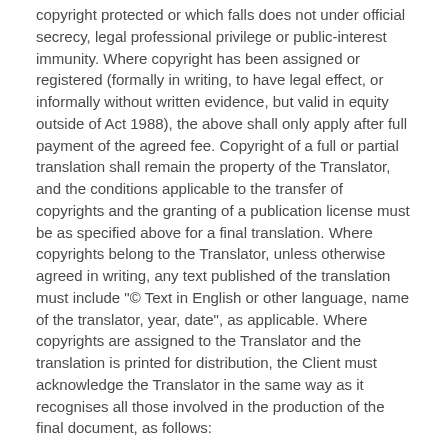copyright protected or which falls does not under official secrecy, legal professional privilege or public-interest immunity. Where copyright has been assigned or registered (formally in writing, to have legal effect, or informally without written evidence, but valid in equity outside of Act 1988), the above shall only apply after full payment of the agreed fee. Copyright of a full or partial translation shall remain the property of the Translator, and the conditions applicable to the transfer of copyrights and the granting of a publication license must be as specified above for a final translation. Where copyrights belong to the Translator, unless otherwise agreed in writing, any text published of the translation must include "© Text in English or other language, name of the translator, year, date", as applicable. Where copyrights are assigned to the Translator and the translation is printed for distribution, the Client must acknowledge the Translator in the same way as it recognises all those involved in the production of the final document, as follows: